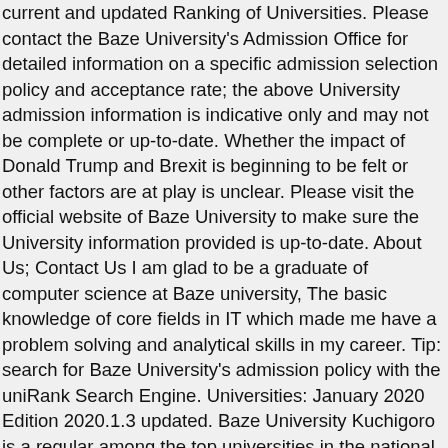current and updated Ranking of Universities. Please contact the Baze University's Admission Office for detailed information on a specific admission selection policy and acceptance rate; the above University admission information is indicative only and may not be complete or up-to-date. Whether the impact of Donald Trump and Brexit is beginning to be felt or other factors are at play is unclear. Please visit the official website of Baze University to make sure the University information provided is up-to-date. About Us; Contact Us I am glad to be a graduate of computer science at Baze university, The basic knowledge of core fields in IT which made me have a problem solving and analytical skills in my career. Tip: search for Baze University's admission policy with the uniRank Search Engine. Universities: January 2020 Edition 2020.1.3 updated. Baze University Kuchigoro is a regular among the top universities in the national rankings of Nigeria. Information presented on this page by the ngstudentportal.com team concerns the Official Baze University, Abuja https://bazeuniversity.edu.ng Student Portal Login Home where you can be updated on everything about this great Institution